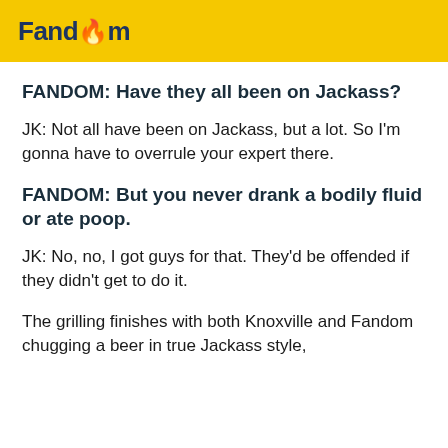Fandom
FANDOM: Have they all been on Jackass?
JK: Not all have been on Jackass, but a lot. So I'm gonna have to overrule your expert there.
FANDOM: But you never drank a bodily fluid or ate poop.
JK: No, no, I got guys for that. They'd be offended if they didn't get to do it.
The grilling finishes with both Knoxville and Fandom chugging a beer in true Jackass style,